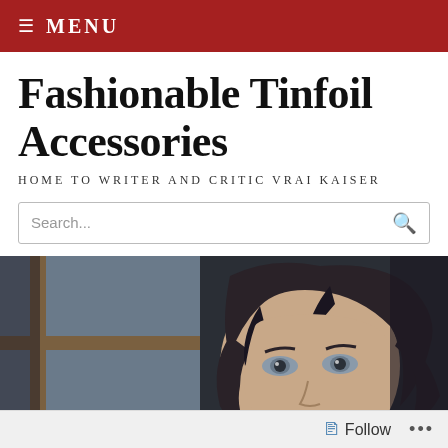≡ MENU
Fashionable Tinfoil Accessories
HOME TO WRITER AND CRITIC VRAI KAISER
[Figure (screenshot): Anime illustration of a dark-haired character with a contemplative expression, hand raised to chin, set against a dark background with a window visible on the left.]
Follow •••